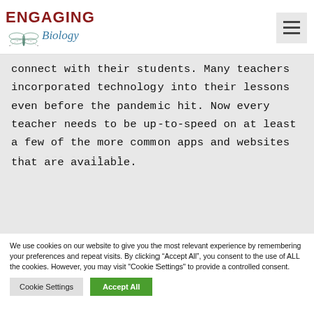Engaging Biology
connect with their students. Many teachers incorporated technology into their lessons even before the pandemic hit. Now every teacher needs to be up-to-speed on at least a few of the more common apps and websites that are available.
We use cookies on our website to give you the most relevant experience by remembering your preferences and repeat visits. By clicking “Accept All”, you consent to the use of ALL the cookies. However, you may visit "Cookie Settings" to provide a controlled consent.